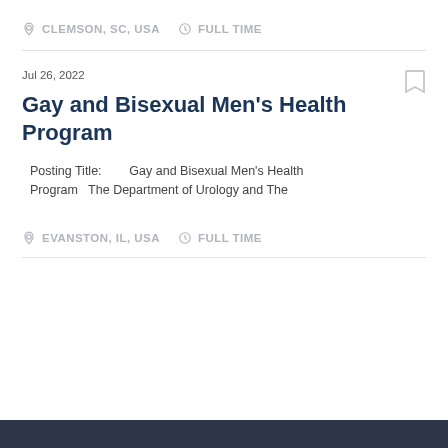CLEMSON, SC, USA   FULL TIME
Jul 26, 2022
Gay and Bisexual Men's Health Program
Posting Title:   Gay and Bisexual Men's Health Program   The Department of Urology and The
EVANSTON, IL, USA   FULL TIME